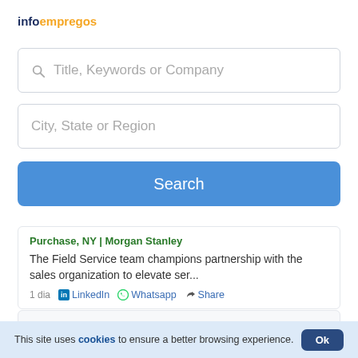[Figure (logo): infoempregos logo — 'info' in dark blue bold, 'empregos' in orange bold]
Title, Keywords or Company
City, State or Region
Search
Purchase, NY | Morgan Stanley
The Field Service team champions partnership with the sales organization to elevate ser...
1 dia   LinkedIn   Whatsapp   Share
Trainer, Tissue Bank
This site uses cookies to ensure a better browsing experience.